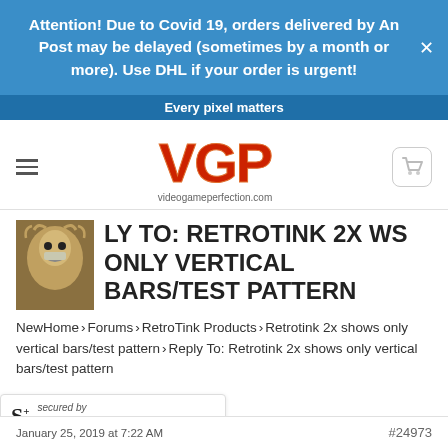Attention! Due to Covid 19, orders delivered by An Post may be delayed (sometimes by a month or more). Use DHL if your order is urgent!
Every pixel matters
[Figure (logo): VGP videogameperfection.com logo with hamburger menu and cart icon]
REPLY TO: RETROTINK 2X SHOWS ONLY VERTICAL BARS/TEST PATTERN
NewHome › Forums › RetroTink Products › Retrotink 2x shows only vertical bars/test pattern › Reply To: Retrotink 2x shows only vertical bars/test pattern
[Figure (logo): Sucuri security badge — secured by Sucuri]
January 25, 2019 at 7:22 AM  #24973